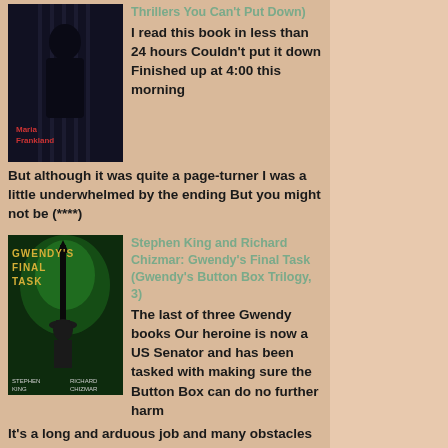[Figure (photo): Book cover for a Maria Frankland thriller — dark silhouette of a figure against vertical bars]
Thrillers You Can't Put Down)
I read this book in less than 24 hours Couldn't put it down Finished up at 4:00 this morning But although it was quite a page-turner I was a little underwhelmed by the ending But you might not be (****)
[Figure (photo): Book cover for Gwendy's Final Task by Stephen King and Richard Chizmar — dark atmospheric cover with a figure in a bowler hat]
Stephen King and Richard Chizmar: Gwendy's Final Task (Gwendy's Button Box Trilogy, 3)
The last of three Gwendy books Our heroine is now a US Senator and has been tasked with making sure the Button Box can do no further harm It's a long and arduous job and many obstacles are put in her way Can she accomplish what mysterious Richard Farris has told her she's the only one trustworthy enough to